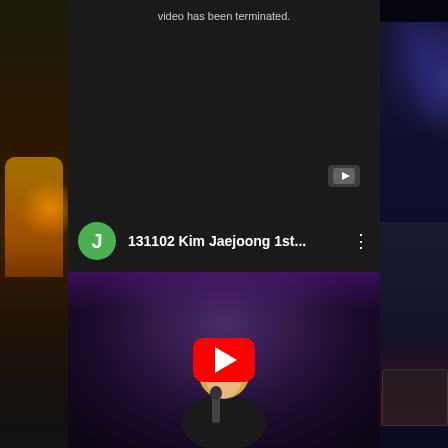[Figure (screenshot): Screenshot of a YouTube app showing two video items. Top item shows a dark terminated video block with text 'video has been terminated.' and a small YouTube icon in the bottom right corner. Below it is a second YouTube video card showing a green avatar circle with 'J', video title '131102 Kim Jaejoong 1st...', a three-dot menu icon, and a thumbnail of a performer on stage with a large red YouTube play button overlay. Left and right edges show partial thumbnails of other videos.]
video has been terminated.
131102 Kim Jaejoong 1st...